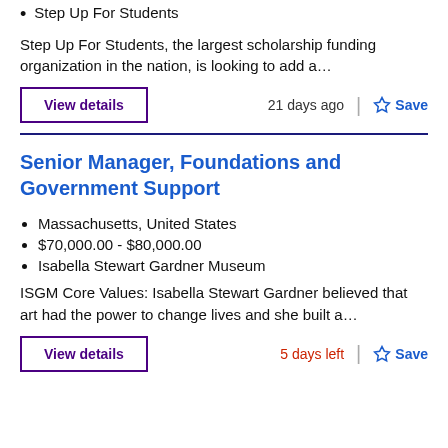Step Up For Students
Step Up For Students, the largest scholarship funding organization in the nation, is looking to add a…
View details | 21 days ago | Save
Senior Manager, Foundations and Government Support
Massachusetts, United States
$70,000.00 - $80,000.00
Isabella Stewart Gardner Museum
ISGM Core Values: Isabella Stewart Gardner believed that art had the power to change lives and she built a…
View details | 5 days left | Save